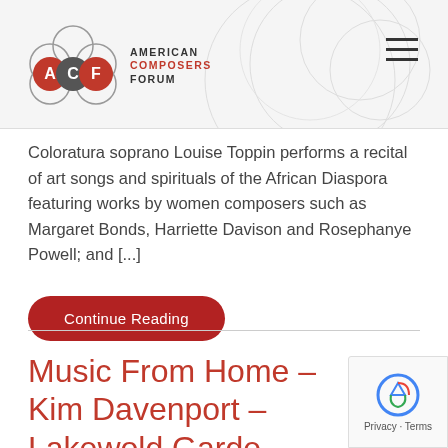[Figure (logo): American Composers Forum (ACF) logo with three overlapping circles labeled A, C, F in red and grey, alongside text 'AMERICAN COMPOSERS FORUM']
Coloratura soprano Louise Toppin performs a recital of art songs and spirituals of the African Diaspora featuring works by women composers such as Margaret Bonds, Harriette Davison and Rosephanye Powell; and [...]
Continue Reading
Music From Home – Kim Davenport – Lakewold Garde